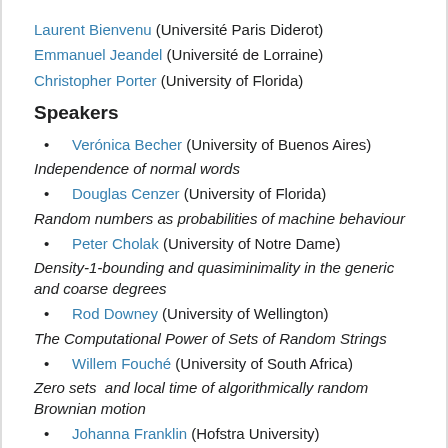Laurent Bienvenu (Université Paris Diderot)
Emmanuel Jeandel (Université de Lorraine)
Christopher Porter (University of Florida)
Speakers
Verónica Becher (University of Buenos Aires)
Independence of normal words
Douglas Cenzer (University of Florida)
Random numbers as probabilities of machine behaviour
Peter Cholak (University of Notre Dame)
Density-1-bounding and quasiminimality in the generic and coarse degrees
Rod Downey (University of Wellington)
The Computational Power of Sets of Random Strings
Willem Fouché (University of South Africa)
Zero sets  and local time of algorithmically random Brownian motion
Johanna Franklin (Hofstra University)